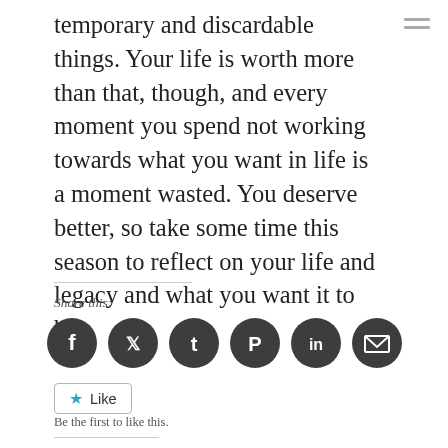temporary and discardable things. Your life is worth more than that, though, and every moment you spend not working towards what you want in life is a moment wasted. You deserve better, so take some time this season to reflect on your life and legacy and what you want it to be.
Share this:
[Figure (infographic): Six dark circular social share buttons: Facebook, Twitter, Tumblr, Pinterest, LinkedIn, Email]
[Figure (infographic): Like button with blue star icon and text 'Like']
Be the first to like this.
Related
Keto Chow for Mental Health
Deliberately starting a